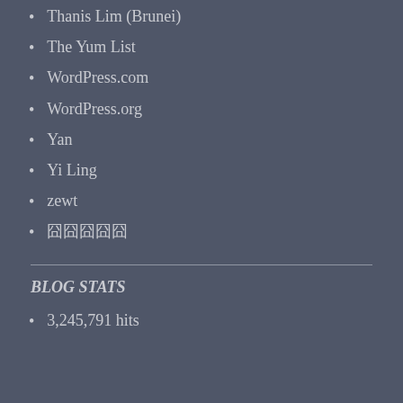Thanis Lim (Brunei)
The Yum List
WordPress.com
WordPress.org
Yan
Yi Ling
zewt
囧囧囧囧囧
BLOG STATS
3,245,791 hits